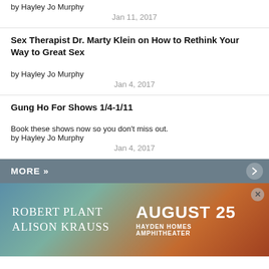by Hayley Jo Murphy
Jan 11, 2017
Sex Therapist Dr. Marty Klein on How to Rethink Your Way to Great Sex
by Hayley Jo Murphy
Jan 4, 2017
Gung Ho For Shows 1/4-1/11
Book these shows now so you don't miss out.
by Hayley Jo Murphy
Jan 4, 2017
MORE »
[Figure (infographic): Advertisement for Robert Plant and Alison Krauss at Hayden Homes Amphitheater on August 25, with sunset/landscape background]